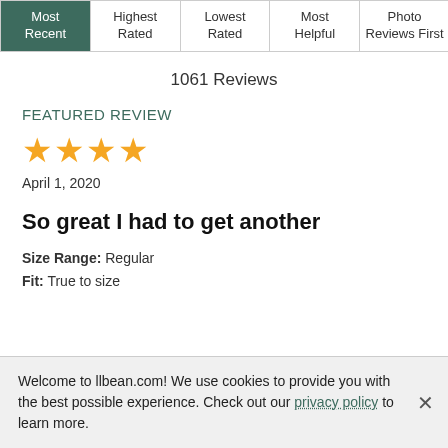| Most Recent | Highest Rated | Lowest Rated | Most Helpful | Photo Reviews First |
| --- | --- | --- | --- | --- |
1061 Reviews
FEATURED REVIEW
[Figure (other): 4 gold stars rating]
April 1, 2020
So great I had to get another
Size Range: Regular
Fit: True to size
Welcome to llbean.com! We use cookies to provide you with the best possible experience. Check out our privacy policy to learn more.